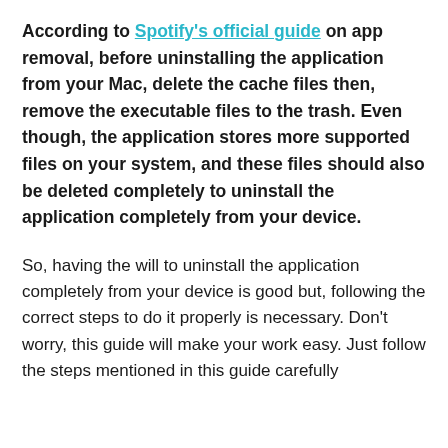According to Spotify's official guide on app removal, before uninstalling the application from your Mac, delete the cache files then, remove the executable files to the trash. Even though, the application stores more supported files on your system, and these files should also be deleted completely to uninstall the application completely from your device.
So, having the will to uninstall the application completely from your device is good but, following the correct steps to do it properly is necessary. Don't worry, this guide will make your work easy. Just follow the steps mentioned in this guide carefully